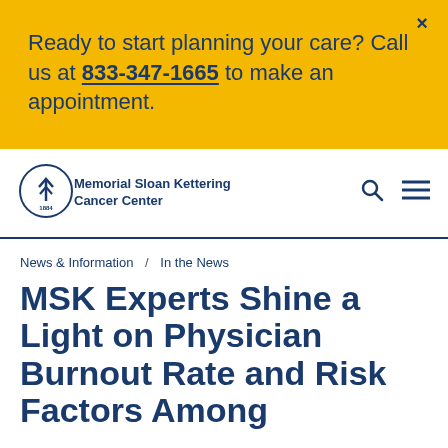Ready to start planning your care? Call us at 833-347-1665 to make an appointment.
[Figure (logo): Memorial Sloan Kettering Cancer Center logo — circular emblem with tree/arrow symbol and 1884 text]
Memorial Sloan Kettering Cancer Center
News & Information / In the News
MSK Experts Shine a Light on Physician Burnout Rate and Risk Factors Among